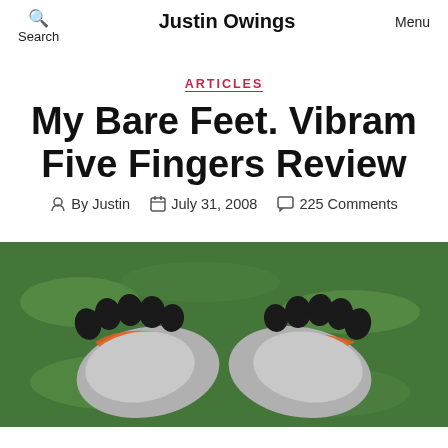Search  Justin Owings  Menu
ARTICLES
My Bare Feet. Vibram Five Fingers Review
By Justin  July 31, 2008  225 Comments
[Figure (photo): Overhead view of a person wearing Vibram Five Fingers shoes (grey and orange toe shoes) resting on green grass]